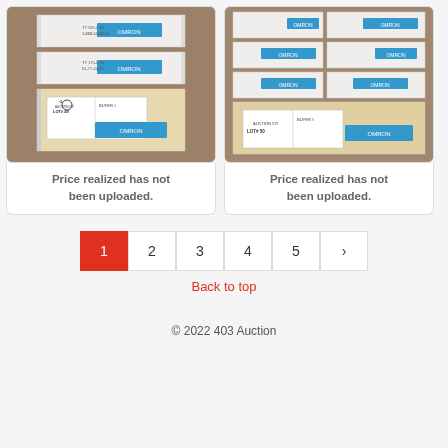[Figure (photo): Stack of white Omron branded boxes on a shelf, lot tag showing LOT# 49 with BUYER# field]
Price realized has not been uploaded.
[Figure (photo): Stack of white Omron branded boxes on a shelf, lot tag showing LOT# 50 with BUYER# field]
Price realized has not been uploaded.
1 2 3 4 5 >
Back to top
© 2022 403 Auction